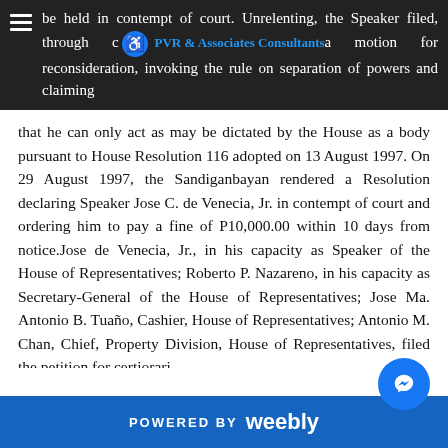be held in contempt of court. Unrelenting, the Speaker filed, through counsel, a motion for reconsideration, invoking the rule on separation of powers and claiming
that he can only act as may be dictated by the House as a body pursuant to House Resolution 116 adopted on 13 August 1997. On 29 August 1997, the Sandiganbayan rendered a Resolution declaring Speaker Jose C. de Venecia, Jr. in contempt of court and ordering him to pay a fine of P10,000.00 within 10 days from notice.Jose de Venecia, Jr., in his capacity as Speaker of the House of Representatives; Roberto P. Nazareno, in his capacity as Secretary-General of the House of Representatives; Jose Ma. Antonio B. Tuaño, Cashier, House of Representatives; Antonio M. Chan, Chief, Property Division, House of Representatives, filed the petition for certiorari.
RATIO DECIDENDI: As held in Miriam Defensor
POWERED BY weebly